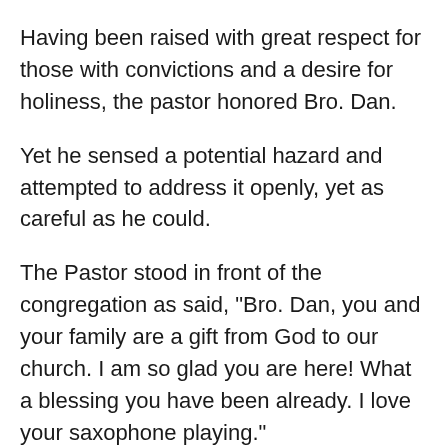Having been raised with great respect for those with convictions and a desire for holiness, the pastor honored Bro. Dan.
Yet he sensed a potential hazard and attempted to address it openly, yet as careful as he could.
The Pastor stood in front of the congregation as said, "Bro. Dan, you and your family are a gift from God to our church. I am so glad you are here! What a blessing you have been already. I love your saxophone playing."
The church readily responded with a hearty amen and hand clapping.
“I notice that you don’t wear a watch. I also understand that was the teaching of the church you were in before you came here.”